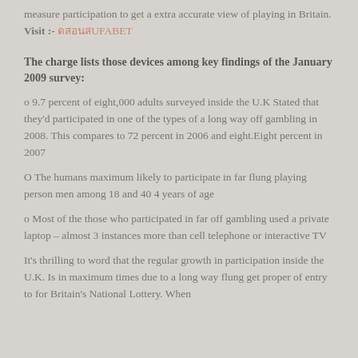measure participation to get a extra accurate view of playing in Britain. Visit :- ดสอนสUFABET
The charge lists those devices among key findings of the January 2009 survey:
o 9.7 percent of eight,000 adults surveyed inside the U.K Stated that they'd participated in one of the types of a long way off gambling in 2008. This compares to 72 percent in 2006 and eight.Eight percent in 2007
O The humans maximum likely to participate in far flung playing person men among 18 and 40 4 years of age
o Most of the those who participated in far off gambling used a private laptop – almost 3 instances more than cell telephone or interactive TV
It's thrilling to word that the regular growth in participation inside the U.K. Is in maximum times due to a long way flung get proper of entry to for Britain's National Lottery. When